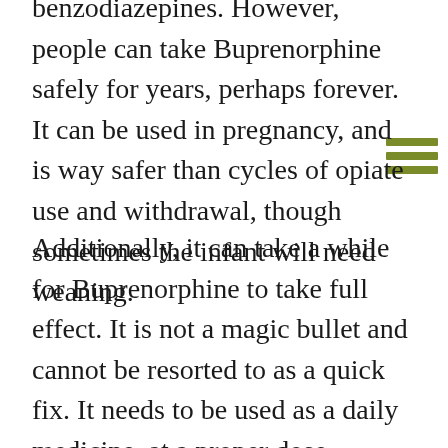benzodiazepines. However, people can take Buprenorphine safely for years, perhaps forever. It can be used in pregnancy, and is way safer than cycles of opiate use and withdrawal, though sometimes the infant will need weaning.
Additionally, it can take a while for Buprenorphine to take full effect. It is not a magic bullet and cannot be resorted to as a quick fix. It needs to be used as a daily medicine, at a proper dose. Unfortunately many take it at low doses, irregularly, and to bridge between the use of heroin or oxycodone. They say they've tried suboxone